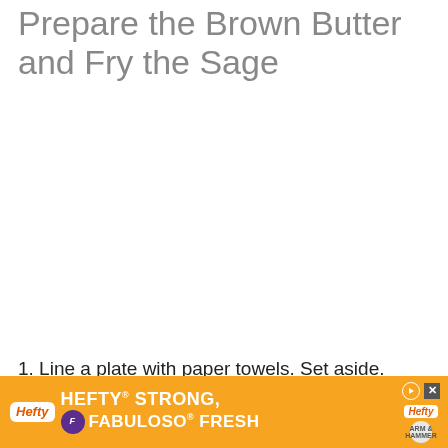Prepare the Brown Butter and Fry the Sage
[Figure (photo): Photo area showing preparation of brown butter and sage (white/blank in this view)]
1. Line a plate with paper towels. Set aside.
2. Melt the butter in a large skillet over medium heat. Carefully add the butter, swirling the pan, until it starts to brown
[Figure (other): Advertisement banner: Hefty Strong, Fabuloso Fresh]